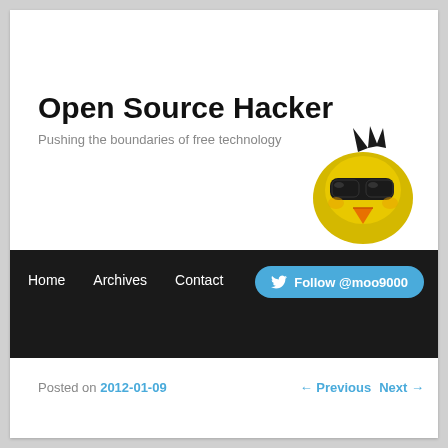Open Source Hacker
Pushing the boundaries of free technology
[Figure (photo): Yellow Angry Birds plush toy wearing black sunglasses]
Home   Archives   Contact   Follow @moo9000
Posted on 2012-01-09
← Previous   Next →